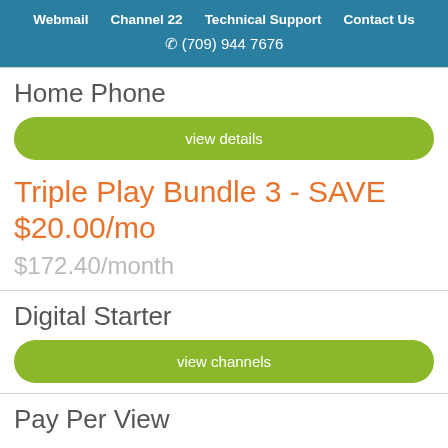Webmail   Channel 22   Technical Support   Contact Us
☎ (709) 944 7676
Home Phone
view details
Triple Play Bundle 3 - SAVE $20.00/mo
$172.40/month
Digital Starter
view channels
Pay Per View